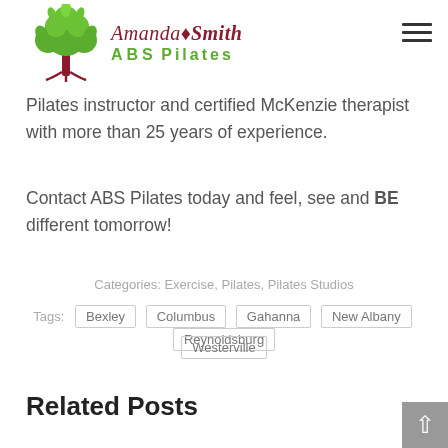[Figure (logo): Amanda Smith ABS Pilates logo with green tree and cursive/bold text]
Pilates instructor and certified McKenzie therapist with more than 25 years of experience.
Contact ABS Pilates today and feel, see and BE different tomorrow!
Categories: Exercise, Pilates, Pilates Studios
Tags: Bexley | Columbus | Gahanna | New Albany | Reynoldsburg | Westerville
Related Posts